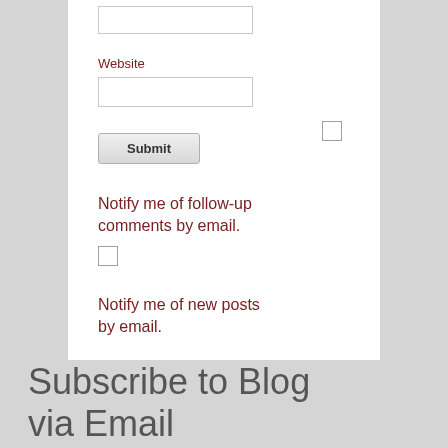Website
[Figure (screenshot): Text input field for Website URL]
[Figure (screenshot): Checkbox (unchecked)]
[Figure (screenshot): Submit button]
Notify me of follow-up comments by email.
[Figure (screenshot): Checkbox (unchecked) for follow-up comments notification]
Notify me of new posts by email.
Subscribe to Blog via Email